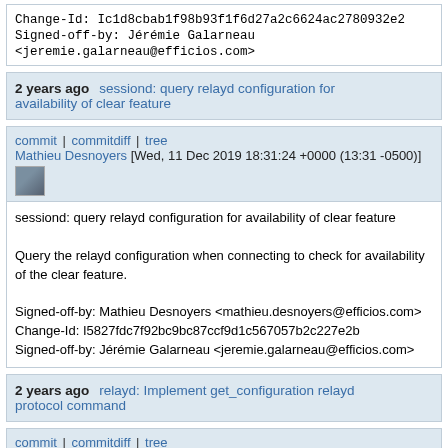Change-Id: Ic1d8cbab1f98b93f1f6d27a2c6624ac2780932e2
Signed-off-by: Jérémie Galarneau <jeremie.galarneau@efficios.com>
2 years ago   sessiond: query relayd configuration for availability of clear feature
commit | commitdiff | tree
Mathieu Desnoyers [Wed, 11 Dec 2019 18:31:24 +0000 (13:31 -0500)]
sessiond: query relayd configuration for availability of clear feature

Query the relayd configuration when connecting to check for availability of the clear feature.

Signed-off-by: Mathieu Desnoyers <mathieu.desnoyers@efficios.com>
Change-Id: I5827fdc7f92bc9bc87ccf9d1c567057b2c227e2b
Signed-off-by: Jérémie Galarneau <jeremie.galarneau@efficios.com>
2 years ago   relayd: Implement get_configuration relayd protocol command
commit | commitdiff | tree